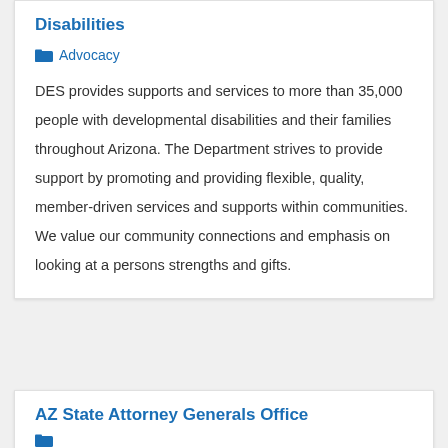Disabilities
Advocacy
DES provides supports and services to more than 35,000 people with developmental disabilities and their families throughout Arizona. The Department strives to provide support by promoting and providing flexible, quality, member-driven services and supports within communities. We value our community connections and emphasis on looking at a persons strengths and gifts.
AZ State Attorney Generals Office